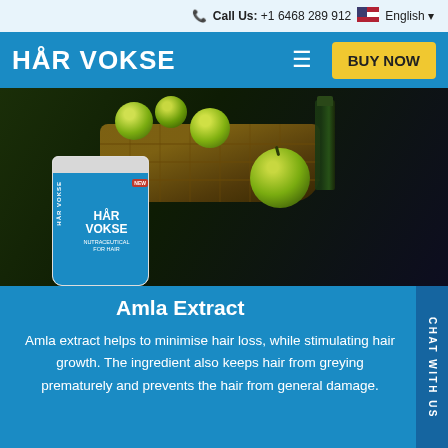Call Us: +1 6468 289 912  English
HÅR VOKSE
[Figure (photo): Photo of green amla (Indian gooseberry) fruits in a wicker basket on a dark surface, with a dark green glass bottle in the background. A Har Vokse supplement bottle is overlaid on the lower left.]
Amla Extract
Amla extract helps to minimise hair loss, while stimulating hair growth. The ingredient also keeps hair from greying prematurely and prevents the hair from general damage.
bauer. SECURE ORDER